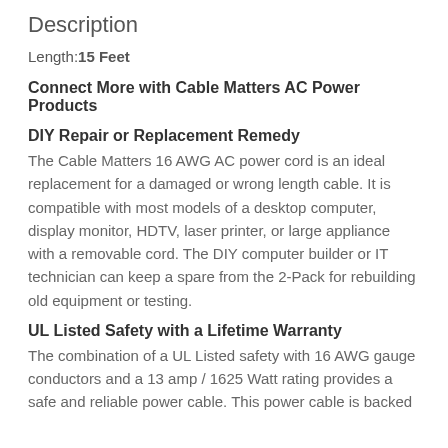Description
Length: 15 Feet
Connect More with Cable Matters AC Power Products
DIY Repair or Replacement Remedy
The Cable Matters 16 AWG AC power cord is an ideal replacement for a damaged or wrong length cable. It is compatible with most models of a desktop computer, display monitor, HDTV, laser printer, or large appliance with a removable cord. The DIY computer builder or IT technician can keep a spare from the 2-Pack for rebuilding old equipment or testing.
UL Listed Safety with a Lifetime Warranty
The combination of a UL Listed safety with 16 AWG gauge conductors and a 13 amp / 1625 Watt rating provides a safe and reliable power cable. This power cable is backed